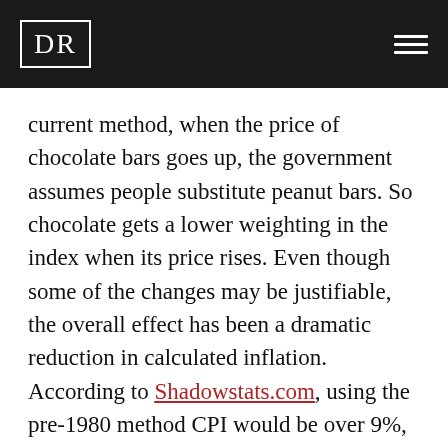DR
current method, when the price of chocolate bars goes up, the government assumes people substitute peanut bars. So chocolate gets a lower weighting in the index when its price rises. Even though some of the changes may be justifiable, the overall effect has been a dramatic reduction in calculated inflation. According to Shadowstats.com, using the pre-1980 method CPI would be over 9%, today compared to about 2% in the official statistics. While the truth probably lies somewhere in the middle, this doesn’t even take into account inflation we ignore by using a basket of goods that does not match the real world cost of living.